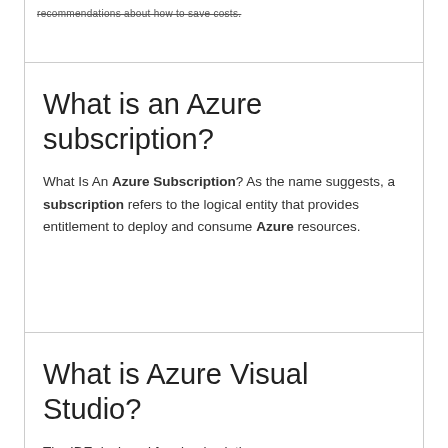recommendations about how to save costs.
What is an Azure subscription?
What Is An Azure Subscription? As the name suggests, a subscription refers to the logical entity that provides entitlement to deploy and consume Azure resources.
What is Azure Visual Studio?
The IDE designed for cloud solutions
Develop, debug, and monitor cloud applications locally, and deploy to production using powerful integration tools.